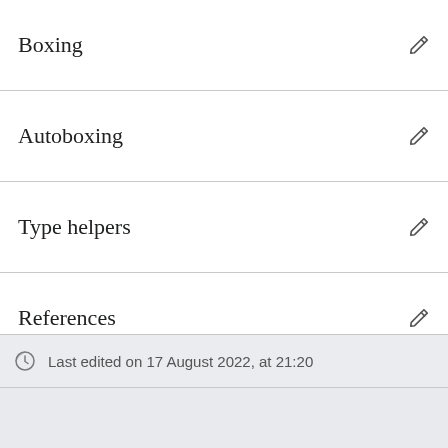Boxing
Autoboxing
Type helpers
References
Last edited on 17 August 2022, at 21:20